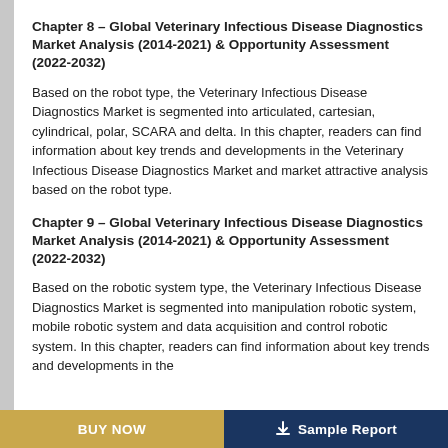Chapter 8 – Global Veterinary Infectious Disease Diagnostics Market Analysis (2014-2021) & Opportunity Assessment (2022-2032)
Based on the robot type, the Veterinary Infectious Disease Diagnostics Market is segmented into articulated, cartesian, cylindrical, polar, SCARA and delta. In this chapter, readers can find information about key trends and developments in the Veterinary Infectious Disease Diagnostics Market and market attractive analysis based on the robot type.
Chapter 9 – Global Veterinary Infectious Disease Diagnostics Market Analysis (2014-2021) & Opportunity Assessment (2022-2032)
Based on the robotic system type, the Veterinary Infectious Disease Diagnostics Market is segmented into manipulation robotic system, mobile robotic system and data acquisition and control robotic system. In this chapter, readers can find information about key trends and developments in the
BUY NOW    Sample Report